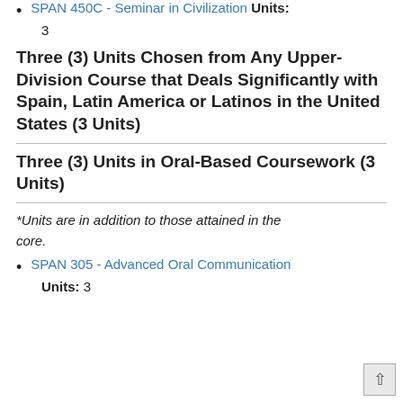SPAN 450C - Seminar in Civilization Units: 3
Three (3) Units Chosen from Any Upper-Division Course that Deals Significantly with Spain, Latin America or Latinos in the United States (3 Units)
Three (3) Units in Oral-Based Coursework (3 Units)
*Units are in addition to those attained in the core.
SPAN 305 - Advanced Oral Communication Units: 3